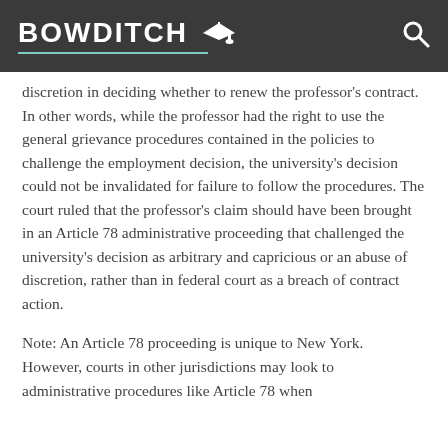BOWDITCH
discretion in deciding whether to renew the professor's contract. In other words, while the professor had the right to use the general grievance procedures contained in the policies to challenge the employment decision, the university's decision could not be invalidated for failure to follow the procedures. The court ruled that the professor's claim should have been brought in an Article 78 administrative proceeding that challenged the university's decision as arbitrary and capricious or an abuse of discretion, rather than in federal court as a breach of contract action.
Note: An Article 78 proceeding is unique to New York. However, courts in other jurisdictions may look to administrative procedures like Article 78 when